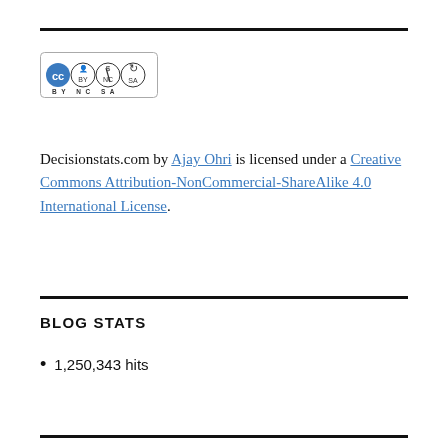[Figure (logo): Creative Commons BY NC SA license badge with CC, person, dollar-sign-circle, and refresh-circle icons, and the text BY NC SA below]
Decisionstats.com by Ajay Ohri is licensed under a Creative Commons Attribution-NonCommercial-ShareAlike 4.0 International License.
BLOG STATS
1,250,343 hits